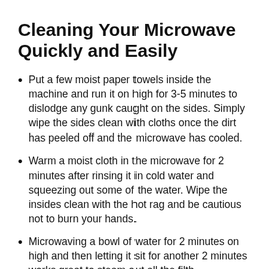Cleaning Your Microwave Quickly and Easily
Put a few moist paper towels inside the machine and run it on high for 3-5 minutes to dislodge any gunk caught on the sides. Simply wipe the sides clean with cloths once the dirt has peeled off and the microwave has cooled.
Warm a moist cloth in the microwave for 2 minutes after rinsing it in cold water and squeezing out some of the water. Wipe the insides clean with the hot rag and be cautious not to burn your hands.
Microwaving a bowl of water for 2 minutes on high and then letting it sit for another 2 minutes works great to steam out all the filth